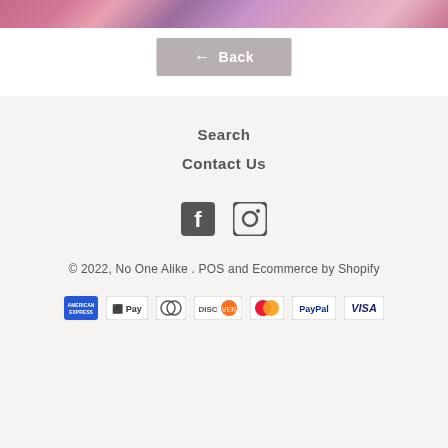[Figure (photo): Colorful abstract/artistic image at top of page with pink, purple, and magenta tones]
← Back
Search
Contact Us
[Figure (other): Facebook and Instagram social media icons]
© 2022, No One Alike . POS and Ecommerce by Shopify
[Figure (other): Payment icons: American Express, Apple Pay, Diners Club, Discover, Mastercard, PayPal, Visa]